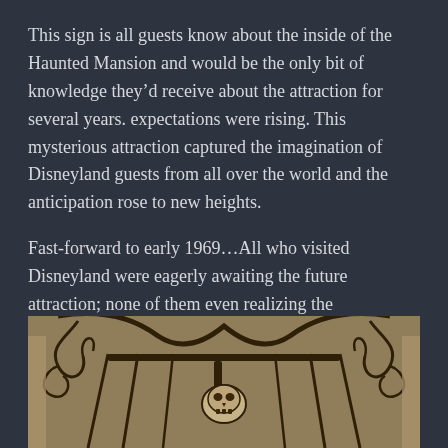This sign is all guests know about the inside of the Haunted Mansion and would be the only bit of knowledge they'd receive about the attraction for several years. expectations were rising. This mysterious attraction captured the imagination of Disneyland guests from all over the world and the anticipation rose to new heights.
Fast-forward to early 1969…All who visited Disneyland were eagerly awaiting the future attraction; none of them even realizing the development nightmare that had been going on behind the scenes for nearly half a decade.
[Figure (photo): Sepia-toned photograph showing ornate wrought iron gate/signage of the Haunted Mansion with a skull motif visible in the center foreground.]